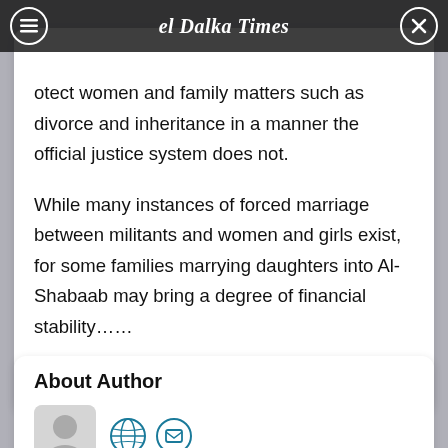Dalka Times
otect women and family matters such as divorce and inheritance in a manner the official justice system does not.
While many instances of forced marriage between militants and women and girls exist, for some families marrying daughters into Al-Shabaab may bring a degree of financial stability……
Source: International Crisis Group.
About Author